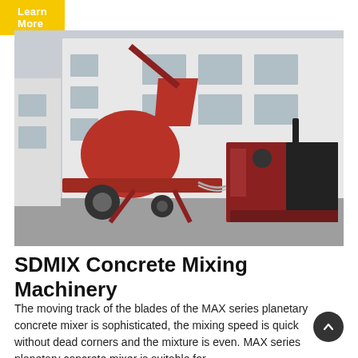Learn More
[Figure (photo): A red SDMIX concrete mixing machine on a trailer with a separate power unit, parked in front of a white industrial building.]
SDMIX Concrete Mixing Machinery
The moving track of the blades of the MAX series planetary concrete mixer is sophisticated, the mixing speed is quick without dead corners and the mixture is even. MAX series planetary concrete mixer is suitable for